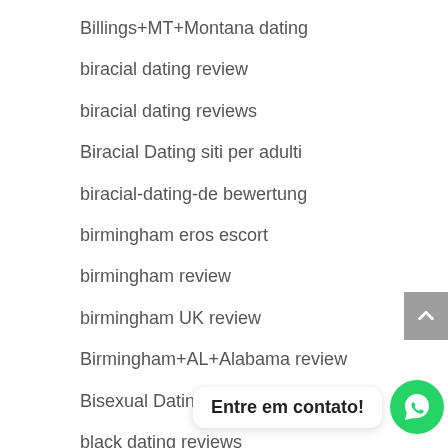Billings+MT+Montana dating
biracial dating review
biracial dating reviews
Biracial Dating siti per adulti
biracial-dating-de bewertung
birmingham eros escort
birmingham review
birmingham UK review
Birmingham+AL+Alabama review
Bisexual Dating visitors
black dating reviews
Black Dating S.
Black Hookup Apps dating